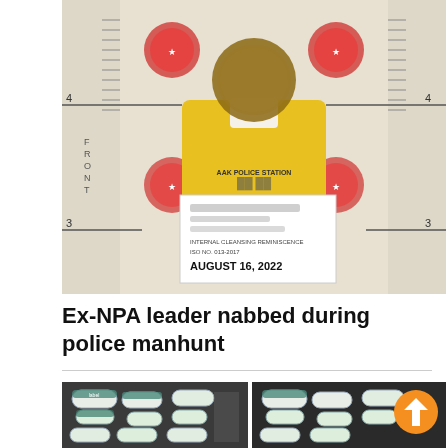[Figure (photo): Mugshot photo of a person standing against a police height measurement board. The person is wearing a yellow shirt with 'AAK POLICE STATION' text. Their face is blurred. They are holding a white document/placard with blurred name text and the visible text: 'INTERNAL CLEANSING REMINISCENCE ISO NO. 013-2017 AUGUST 16, 2022'. The board behind shows measurement markings with numbers 3 and 4 visible and decorative cartoon-style police insignia graphics.]
Ex-NPA leader nabbed during police manhunt
[Figure (photo): Two side-by-side photos showing items (appears to be medicines or drug items with labels) arranged in shelves or compartments. An orange circular arrow/upload icon is overlaid on the right photo.]